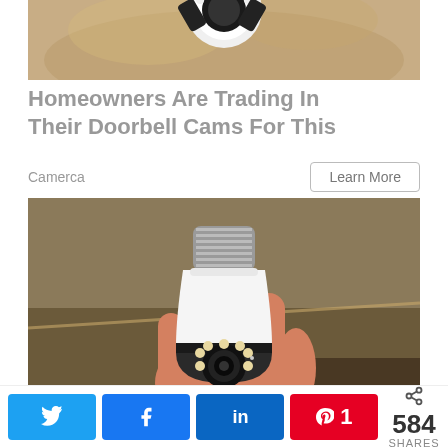[Figure (photo): Top portion of a security camera mounted on a ceiling, partially cropped]
Homeowners Are Trading In Their Doorbell Cams For This
Camerca
Learn More
[Figure (photo): A hand holding a white light bulb-shaped security camera with visible lens and LED lights]
< 584 SHARES